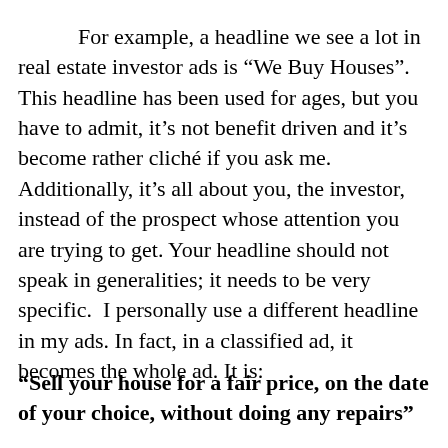For example, a headline we see a lot in real estate investor ads is “We Buy Houses”. This headline has been used for ages, but you have to admit, it’s not benefit driven and it’s become rather cliché if you ask me. Additionally, it’s all about you, the investor, instead of the prospect whose attention you are trying to get. Your headline should not speak in generalities; it needs to be very specific.  I personally use a different headline in my ads. In fact, in a classified ad, it becomes the whole ad. It is:
“Sell your house for a fair price, on the date of your choice, without doing any repairs”